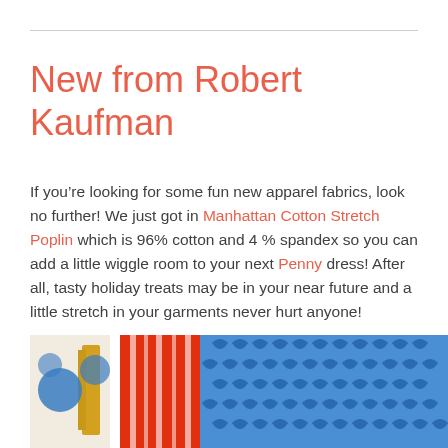New from Robert Kaufman
If you’re looking for some fun new apparel fabrics, look no further! We just got in Manhattan Cotton Stretch Poplin which is 96% cotton and 4 % spandex so you can add a little wiggle room to your next Penny dress! After all, tasty holiday treats may be in your near future and a little stretch in your garments never hurt anyone!
[Figure (photo): Close-up photo of colorful fabric swatches including geometric patterned cotton stretch poplin fabrics in blue, red, yellow, and white patterns from Robert Kaufman.]